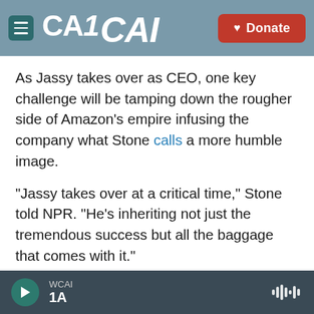CAI — Donate
As Jassy takes over as CEO, one key challenge will be tamping down the rougher side of Amazon's empire infusing the company what Stone calls a more humble image.
"Jassy takes over at a critical time," Stone told NPR. "He's inheriting not just the tremendous success but all the baggage that comes with it."
Stone added that having Jassy at the helm may be aimed at changing perceptions of Amazon, a company that has become an inescapable part of daily life but one the author says elicits mixed
WCAI 1A